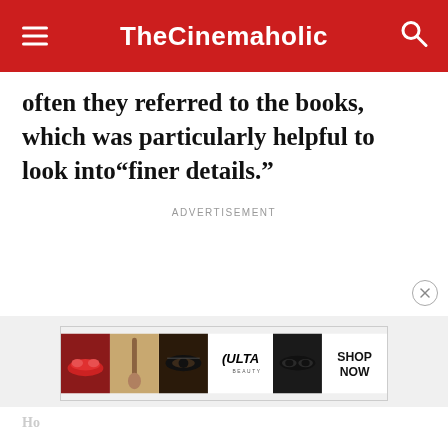TheCinemaholic
often they referred to the books, which was particularly helpful to look into“finer details.”
ADVERTISEMENT
[Figure (photo): Ulta Beauty advertisement banner showing makeup images (lips, brush, eye), Ulta Beauty logo, eye makeup image, and SHOP NOW call to action]
Ho